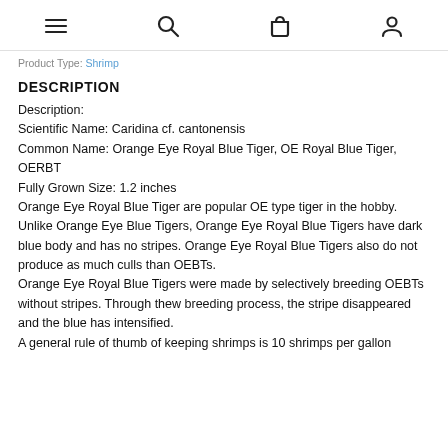[navigation icons: menu, search, cart, account]
Product Type: Shrimp
DESCRIPTION
Description:
Scientific Name: Caridina cf. cantonensis
Common Name: Orange Eye Royal Blue Tiger, OE Royal Blue Tiger, OERBT
Fully Grown Size: 1.2 inches
Orange Eye Royal Blue Tiger are popular OE type tiger in the hobby. Unlike Orange Eye Blue Tigers, Orange Eye Royal Blue Tigers have dark blue body and has no stripes. Orange Eye Royal Blue Tigers also do not produce as much culls than OEBTs.
Orange Eye Royal Blue Tigers were made by selectively breeding OEBTs without stripes. Through thew breeding process, the stripe disappeared and the blue has intensified.
A general rule of thumb of keeping shrimps is 10 shrimps per gallon